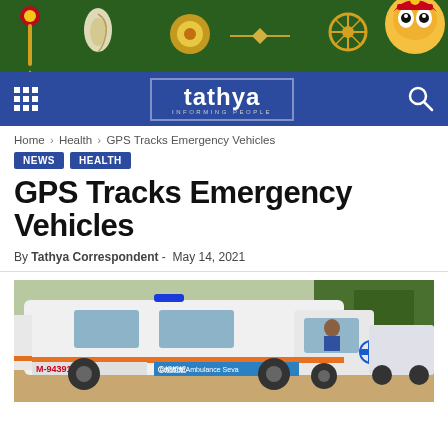[Figure (illustration): Tathya news website decorative banner with dark green background, featuring ornamental Indian cultural icons: decorated staff/danda, conch shell, sun/mace emblem, arrow, chakra/wheel, and deity figure (Lord Jagannath) on the right.]
tathya — INFORMING PEOPLE (navigation bar with grid menu icon and search icon)
Home › Health › GPS Tracks Emergency Vehicles
NEWS  HEALTH
GPS Tracks Emergency Vehicles
By Tathya Correspondent -  May 14, 2021
[Figure (photo): Photo of a white ambulance van with blue emergency light on top, orange stripe along the side, text 'M-9439116288' and COVID-19 related stickers/banners visible. Medical star of life symbol on the side. Other vehicles and trees visible in background.]